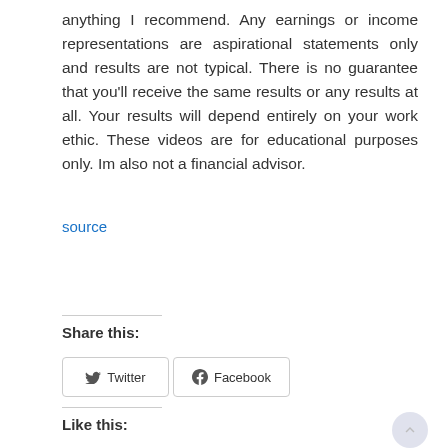anything I recommend. Any earnings or income representations are aspirational statements only and results are not typical. There is no guarantee that you'll receive the same results or any results at all. Your results will depend entirely on your work ethic. These videos are for educational purposes only. Im also not a financial advisor.
source
[Figure (illustration): Advertisement banner: GET PAID FOR YOUR OPINION - Companies want your opinions on products, services, & preferences. Earn up to $35 per Survey! + $5 Sign-Up Bonus! CLAIM YOUR BONUS]
Share this:
Twitter
Facebook
Like this: